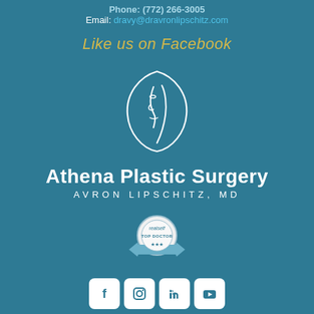Phone: (772) 266-3005
Email: dravy@dravronlipschitz.com
Like us on Facebook
[Figure (logo): Athena Plastic Surgery logo: white line drawing of a woman's face profile inside an oval shape]
Athena Plastic Surgery
AVRON LIPSCHITZ, MD
[Figure (logo): RealSelf Top Doctor badge/seal]
[Figure (other): Social media icons: Facebook, Instagram, LinkedIn, YouTube in white rounded square boxes]